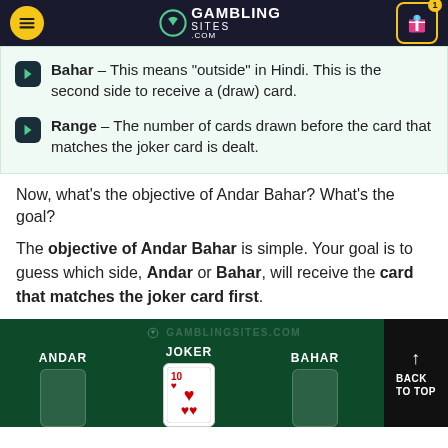GAMBLING SITES .com
Bahar – This means "outside" in Hindi. This is the second side to receive a (draw) card.
Range – The number of cards drawn before the card that matches the joker card is dealt.
Now, what's the objective of Andar Bahar? What's the goal?
The objective of Andar Bahar is simple. Your goal is to guess which side, Andar or Bahar, will receive the card that matches the joker card first.
[Figure (screenshot): Andar Bahar game table showing ANDAR, JOKER, and BAHAR columns on a dark green background with the GamblingSites.com watermark. A 10 of hearts joker card is visible in the center column. A dark 'BACK TO TOP' button is on the right.]